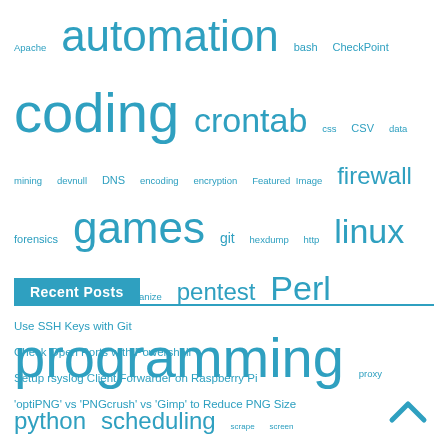[Figure (infographic): Tag cloud with technology/programming related tags in varying sizes, all in teal/cyan color. Tags include: Apache, automation, bash, CheckPoint, coding, crontab, css, CSV, data mining, devnull, DNS, encoding, encryption, Featured Image, firewall, forensics, games, git, hexdump, http, linux, load balancer, lwp, mechanize, pentest, Perl, programming, proxy, python, scheduling, scrape, screen, scripting, shell, SIC, ssh, svg, sysadmin, thunderbird, tools, troubleshooting, ufw, utf-8, windows, Wordpress]
Recent Posts
Use SSH Keys with Git
Check Open Ports with Powershell
Setup rsyslog Client Forwarder on Raspberry Pi
'optiPNG' vs 'PNGcrush' vs 'Gimp' to Reduce PNG Size